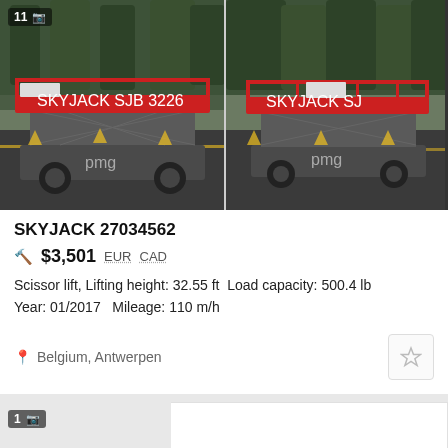[Figure (photo): Two photos of a red Skyjack scissor lift (model SJB 3226) on a wet outdoor surface surrounded by trees. Left image shows front view, right image shows rear/side view. Both branded 'pmg'.]
SKYJACK 27034562
$3,501  EUR  CAD
Scissor lift, Lifting height: 32.55 ft  Load capacity: 500.4 lb
Year: 01/2017   Mileage: 110 m/h
Belgium, Antwerpen
[Figure (logo): Partial logo showing '1' badge with camera icon on left, and 'BOAUC' large bold text logo on white background on right (partially visible, cut off).]